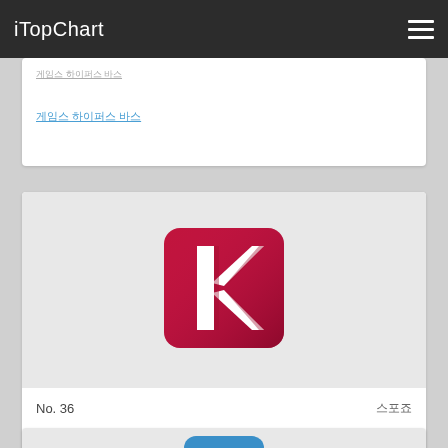iTopChart
No. 36
SEOUL HEROES BASEBALL CLUB
스포츠
[Figure (logo): App icon for Seoul Heroes Baseball Club — magenta/red square background with a stylized white K letter with shadow effect]
[Figure (logo): Partially visible blue app icon at the bottom of the page]